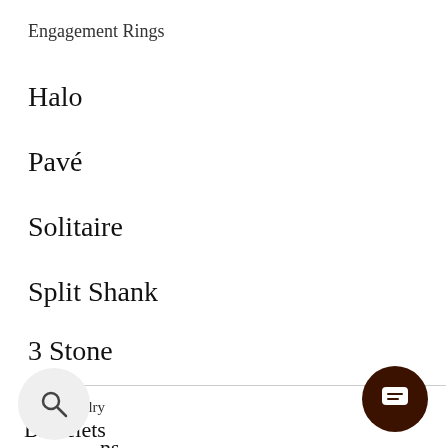Engagement Rings
Halo
Pavé
Solitaire
Split Shank
3 Stone
Fine Jewelry
Bracelets
ns